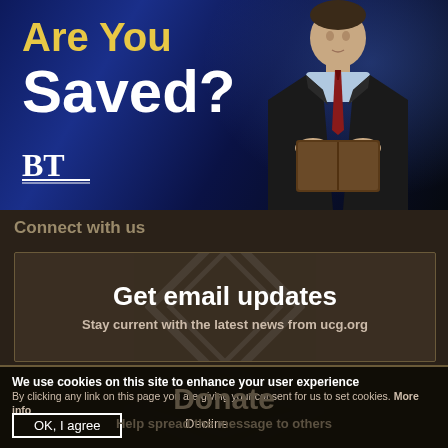[Figure (photo): Banner image showing man in suit holding a Bible against dark blue background, with text 'Are You Saved?' in yellow/white and BT logo]
Connect with us
[Figure (infographic): Dark box with diamond watermark graphic, text 'Get email updates' and subtitle 'Stay current with the latest news from ucg.org']
[Figure (infographic): Background donate section with text 'Donate' and 'Help spread the message to others' visible behind cookie overlay]
We use cookies on this site to enhance your user experience By clicking any link on this page you are giving your consent for us to set cookies. More info
OK, I agree
Decline